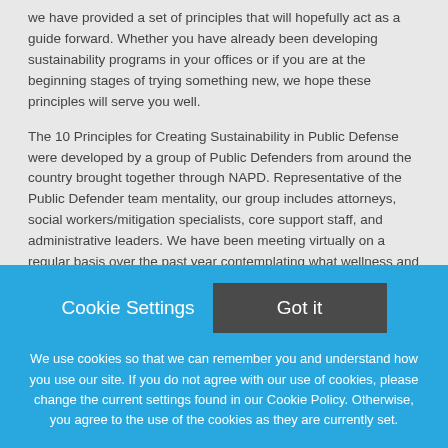we have provided a set of principles that will hopefully act as a guide forward. Whether you have already been developing sustainability programs in your offices or if you are at the beginning stages of trying something new, we hope these principles will serve you well.
The 10 Principles for Creating Sustainability in Public Defense were developed by a group of Public Defenders from around the country brought together through NAPD. Representative of the Public Defender team mentality, our group includes attorneys, social workers/mitigation specialists, core support staff, and administrative leaders. We have been meeting virtually on a regular basis over the past year contemplating what wellness and sustainability look like in our work. The principles are the foundation upon which our future work
Cookie Settings
Got it
We use cookies so that we can remember you and understand how you use our site. If you do not agree with our use of cookies, please change the current settings found in our Cookie Policy. Otherwise, you agree to the use of the cookies as they are currently set.